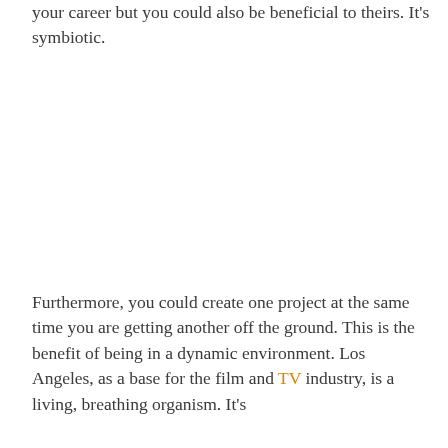your career but you could also be beneficial to theirs. It's symbiotic.
Furthermore, you could create one project at the same time you are getting another off the ground. This is the benefit of being in a dynamic environment. Los Angeles, as a base for the film and TV industry, is a living, breathing organism. It's